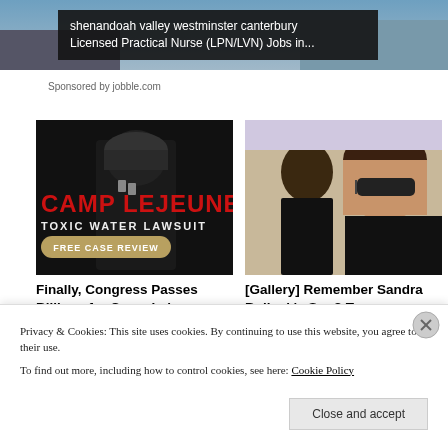[Figure (photo): Top banner image of a person outdoors, partially visible at top of page]
shenandoah valley westminster canterbury Licensed Practical Nurse (LPN/LVN) Jobs in...
Sponsored by jobble.com
[Figure (photo): Camp Lejeune Toxic Water Lawsuit advertisement with military soldier image, text reads: CAMP LEJEUNE TOXIC WATER LAWSUIT FREE CASE REVIEW]
[Figure (photo): Photo of Sandra Bullock with her son]
Finally, Congress Passes Billions for Camp Lejeune
[Gallery] Remember Sandra Bullock's Son? Try
Privacy & Cookies: This site uses cookies. By continuing to use this website, you agree to their use.
To find out more, including how to control cookies, see here: Cookie Policy
Close and accept